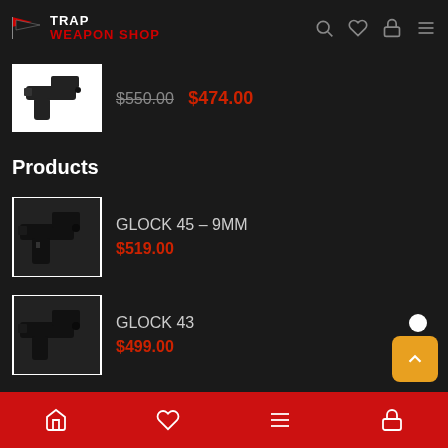TRAP WEAPON SHOP
[Figure (photo): Partial pistol image with crossed-out price $550.00 and sale price $474.00]
Products
[Figure (photo): Glock 45 pistol product image]
GLOCK 45 – 9MM
$519.00
[Figure (photo): Glock 43 pistol product image]
GLOCK 43
$499.00
[Figure (photo): Glock 33 pistol product image]
Glock 33 (357 SIG)
$488.00
[Figure (photo): Glock 23 Gen5 MOS pistol product image]
GLOCK 23 GEN5 MOS
Home | Wishlist | Menu | Account